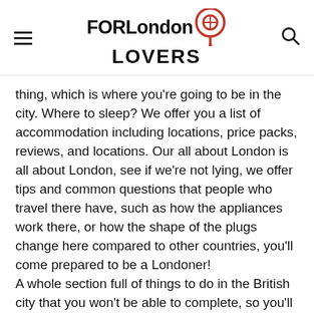FOR London LOVERS [logo with pin icon and hamburger menu]
thing, which is where you're going to be in the city. Where to sleep? We offer you a list of accommodation including locations, price packs, reviews, and locations. Our all about London is all about London, see if we're not lying, we offer tips and common questions that people who travel there have, such as how the appliances work there, or how the shape of the plugs change here compared to other countries, you'll come prepared to be a Londoner! A whole section full of things to do in the British city that you won't be able to complete, so you'll have to come back and visit us again, if you don't already live here. Use us throughout your stay, believe me we are very comprehensive and you will be amazed at all the knowledge we have about the city, which we put together for you and whoever comes with you.